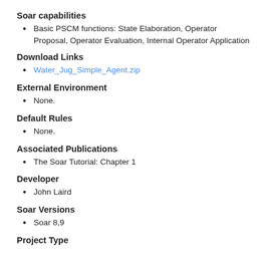Soar capabilities
Basic PSCM functions: State Elaboration, Operator Proposal, Operator Evaluation, Internal Operator Application
Download Links
Water_Jug_Simple_Agent.zip
External Environment
None.
Default Rules
None.
Associated Publications
The Soar Tutorial: Chapter 1
Developer
John Laird
Soar Versions
Soar 8,9
Project Type